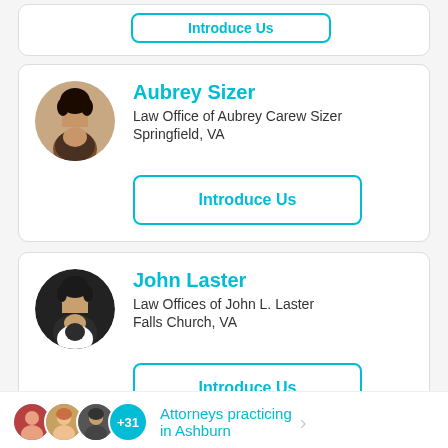[Figure (other): Partial card from previous entry with an Introduce Us button partially visible at top]
Aubrey Sizer
Law Office of Aubrey Carew Sizer
Springfield, VA
[Figure (photo): Circular headshot photo of Aubrey Sizer, a woman with dark hair, smiling]
Introduce Us
John Laster
Law Offices of John L. Laster
Falls Church, VA
[Figure (photo): Circular headshot photo of John Laster, a middle-aged man in a suit, smiling]
Introduce Us
Attorneys practicing in Ashburn